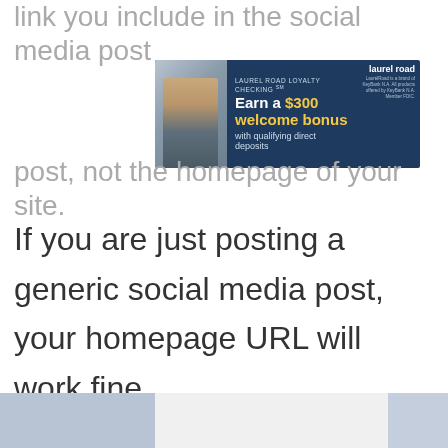link you include in the social media post
[Figure (illustration): Laurel Road Loyalty Checking advertisement banner. Dark navy background with woman photo on left. Text: 'LAUREL ROAD LOYALTY CHECKING℠ Earn a $300 welcome bonus with qualifying direct deposits'. Laurel Road logo on right.]
should be to a specific blog post, not the homepage of your site.
If you are just posting a generic social media post, your homepage URL will work fine.
[Figure (photo): Blue torn paper revealing white area beneath with the word 'Comment' visible in bold italic. A CLOSE button appears in the lower right.]